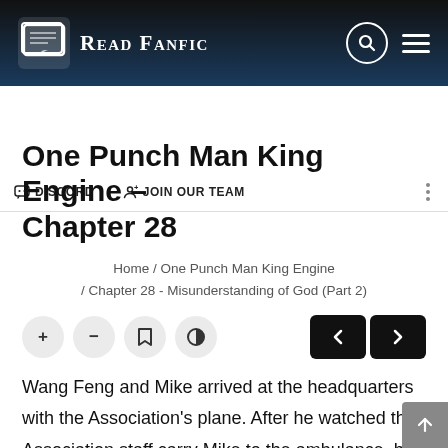Read Fanfic
DISCORD | JOIN OUR TEAM
One Punch Man King Engine – Chapter 28
Home / One Punch Man King Engine / Chapter 28 - Misunderstanding of God (Part 2)
Wang Feng and Mike arrived at the headquarters with the Association's plane. After he watched the Association staff carry Mike to the ambulance, he whirled around. He headed for the Operations Department room.